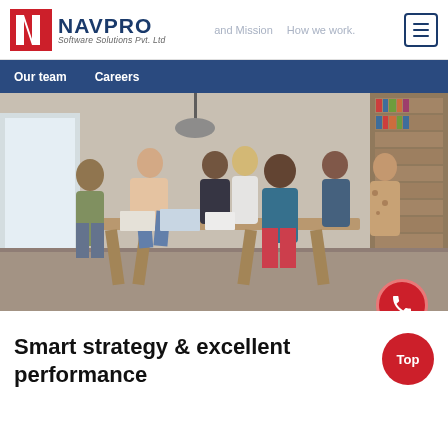NAVPRO Software Solutions Pvt. Ltd
[Figure (logo): NAVPRO Software Solutions Pvt. Ltd logo with red N icon]
and Mission   How we work.
Our team   Careers
[Figure (photo): A group of diverse professionals gathered around a wooden table in a bright office/library setting, collaborating and working together]
Smart strategy & excellent performance